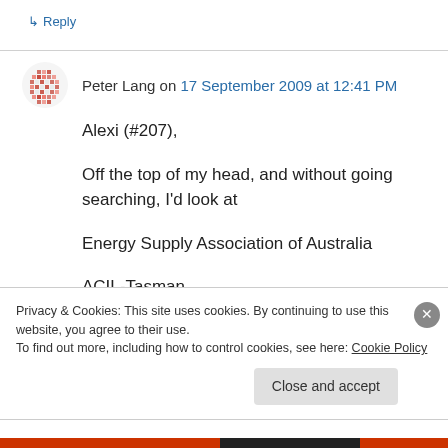↳ Reply
Peter Lang on 17 September 2009 at 12:41 PM
Alexi (#207),
Off the top of my head, and without going searching, I'd look at
Energy Supply Association of Australia
ACIL-Tasman,
Privacy & Cookies: This site uses cookies. By continuing to use this website, you agree to their use.
To find out more, including how to control cookies, see here: Cookie Policy
Close and accept